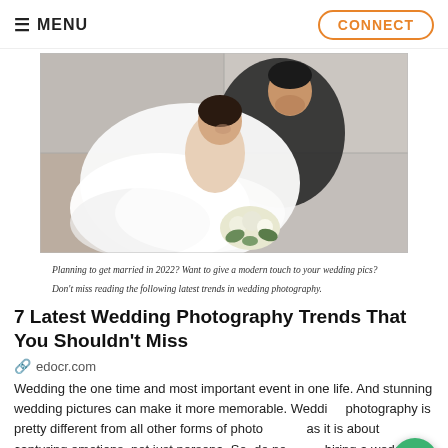MENU | CONNECT
[Figure (photo): Aerial/top-down view of a bride in a white wedding dress and groom in a black suit sitting together on stone floor, bride holding a white floral bouquet]
Planning to get married in 2022? Want to give a modern touch to your wedding pics? Don't miss reading the following latest trends in wedding photography.
7 Latest Wedding Photography Trends That You Shouldn't Miss
edocr.com
Wedding the one time and most important event in one life. And stunning wedding pictures can make it more memorable. Wedding photography is pretty different from all other forms of photography as it is about capturing emotions, not just persona. So, do not think hiring a wedding photographer is an unimportant task. This should